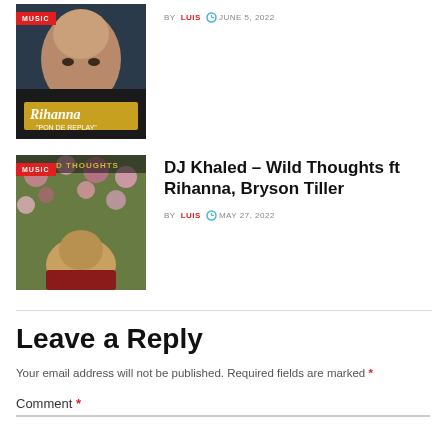[Figure (photo): Rihanna Pon De Replay album cover with MUSIC badge]
BY LUIS  JUNE 5, 2022
[Figure (photo): DJ Khaled Wild Thoughts album cover with MUSIC badge]
DJ Khaled – Wild Thoughts ft Rihanna, Bryson Tiller
BY LUIS  MAY 27, 2022
Leave a Reply
Your email address will not be published. Required fields are marked *
Comment *